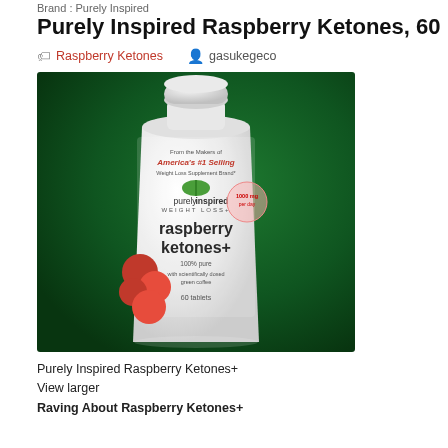Brand : Purely Inspired
Purely Inspired Raspberry Ketones, 60
Raspberry Ketones   gasukegeco
[Figure (photo): Product photo of Purely Inspired Raspberry Ketones+ supplement bottle (60 tablets) on dark green background. Label reads: From the Makers of America's #1 Selling Weight Loss Supplement Brand, purelyinspired WEIGHT LOSS+, raspberry ketones+, 100% pure, with scientifically dosed green coffee, 60 tablets.]
Purely Inspired Raspberry Ketones+
View larger
Raving About Raspberry Ketones+